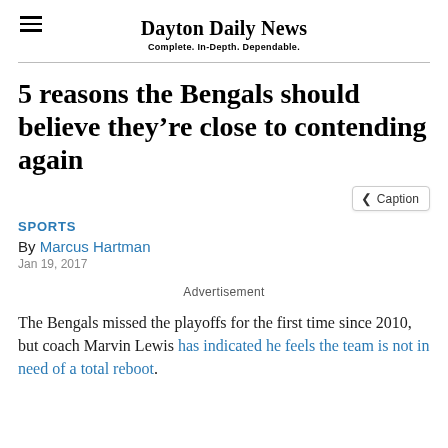Dayton Daily News
Complete. In-Depth. Dependable.
5 reasons the Bengals should believe they're close to contending again
< Caption
SPORTS
By Marcus Hartman
Jan 19, 2017
Advertisement
The Bengals missed the playoffs for the first time since 2010, but coach Marvin Lewis has indicated he feels the team is not in need of a total reboot.